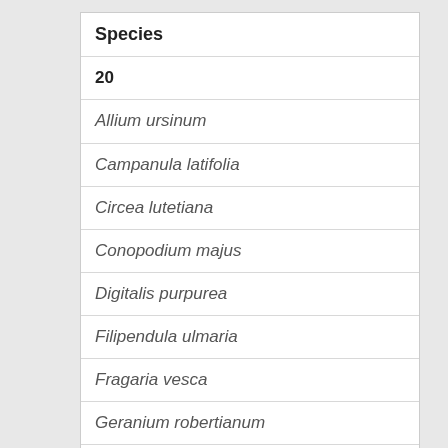| Species |
| --- |
| 20 |
| Allium ursinum |
| Campanula latifolia |
| Circea lutetiana |
| Conopodium majus |
| Digitalis purpurea |
| Filipendula ulmaria |
| Fragaria vesca |
| Geranium robertianum |
| Geum urbanum |
| Hyacinthoides non-scripta |
| Primula vulgaris |